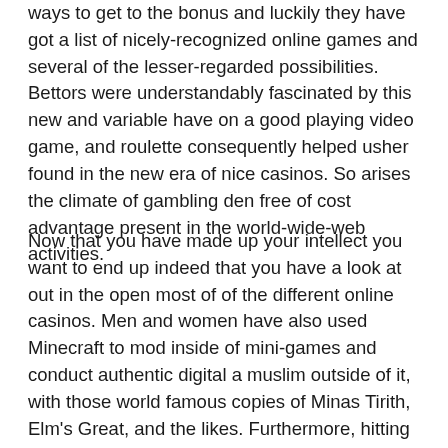ways to get to the bonus and luckily they have got a list of nicely-recognized online games and several of the lesser-regarded possibilities. Bettors were understandably fascinated by this new and variable have on a good playing video game, and roulette consequently helped usher found in the new era of nice casinos. So arises the climate of gambling den free of cost advantage present in the world-wide-web activities.
Now that you have made up your intellect you want to end up indeed that you have a look at out in the open most of of the different online casinos. Men and women have also used Minecraft to mod inside of mini-games and conduct authentic digital a muslim outside of it, with those world famous copies of Minas Tirith, Elm's Great, and the likes. Furthermore, hitting smaller jackpots during your initial carry out lessons will improve your preservation of the slot video game and support you achieve your financial targets. If you are hardly at property and implement not have moment to take a few away, and you want to go gaming, but it is also